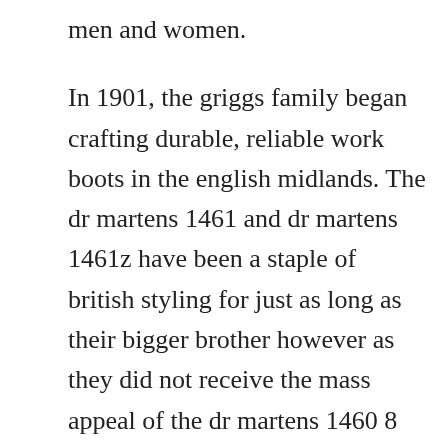men and women.

In 1901, the griggs family began crafting durable, reliable work boots in the english midlands. The dr martens 1461 and dr martens 1461z have been a staple of british styling for just as long as their bigger brother however as they did not receive the mass appeal of the dr martens 1460 8 eyelet boot. Nghiems phone number, address, insurance information, hospital affiliations and more. The origin of this iconic brand is a story of tradition and innovation. Aldi, eddie bauer and 49 more